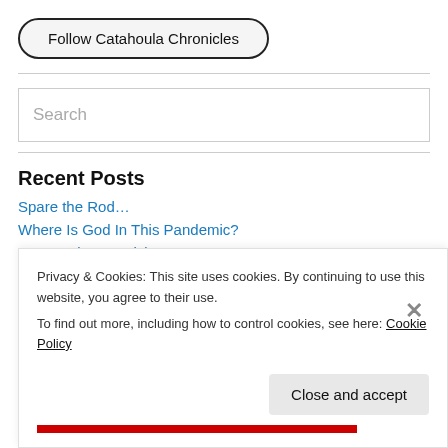Follow Catahoula Chronicles
Search
Recent Posts
Spare the Rod…
Where Is God In This Pandemic?
Roosevelt's Ice Pick
Privacy & Cookies: This site uses cookies. By continuing to use this website, you agree to their use.
To find out more, including how to control cookies, see here: Cookie Policy
Close and accept